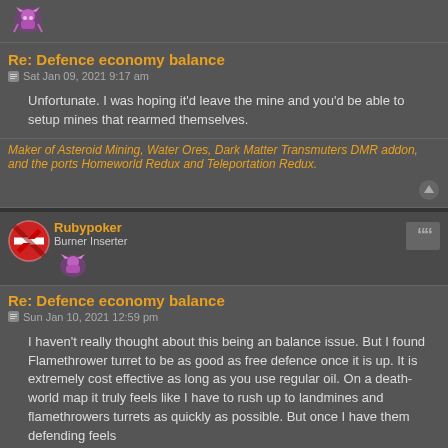[Figure (photo): Small fantasy/game character icon at top of page]
Re: Defence economy balance
Sat Jan 09, 2021 9:17 am
Unfortunate. I was hoping it'd leave the mine and you'd be able to setup mines that rearmed themselves.
Maker of Asteroid Mining, Water Ores, Dark Matter Transmuters DMR addon, and the ports Homeworld Redux and Teleportation Redux.
[Figure (illustration): No entry sign icon (avatar) for Rubypoker]
Rubypoker
Burner Inserter
[Figure (illustration): Small game character rank icon for Burner Inserter]
Re: Defence economy balance
Sun Jan 10, 2021 12:59 pm
I haven't really thought about this being an balance issue. But I found Flamethrower turret to be as good as free defence once it is up. It is extremely cost effective as long as you use regular oil. On a death-world map it truly feels like I have to rush up to landmines and flamethrowers turrets as quickly as possible. But once I have them defending feels